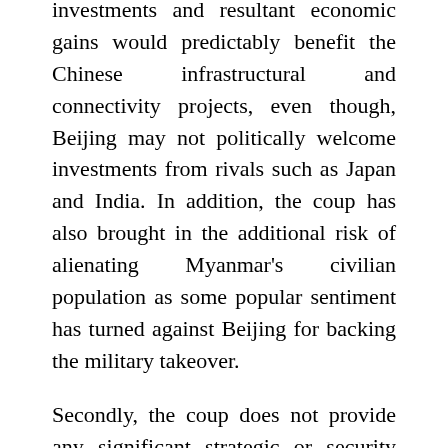investments and resultant economic gains would predictably benefit the Chinese infrastructural and connectivity projects, even though, Beijing may not politically welcome investments from rivals such as Japan and India. In addition, the coup has also brought in the additional risk of alienating Myanmar's civilian population as some popular sentiment has turned against Beijing for backing the military takeover.
Secondly, the coup does not provide any significant strategic or security advantages to Beijing but erodes them to some extent. Myanmar's generals remain well aware of how crucial Beijing's tacit support for them to remain in power. Thus, they may well try to please the Chinese leadership, by showing them the coup has not damaged Chinese interests in the country and that the military rulers